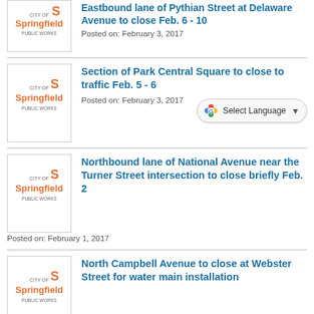Eastbound lane of Pythian Street at Delaware Avenue to close Feb. 6 - 10
Posted on: February 3, 2017
Section of Park Central Square to close to traffic Feb. 5 - 6
Posted on: February 3, 2017
Northbound lane of National Avenue near the Turner Street intersection to close briefly Feb. 2
Posted on: February 1, 2017
North Campbell Avenue to close at Webster Street for water main installation
Posted on: January 13, 2017
Meteor Avenue closing Jan .16 - 17 for railroad crossing repairs
Posted on: January 13, 2017